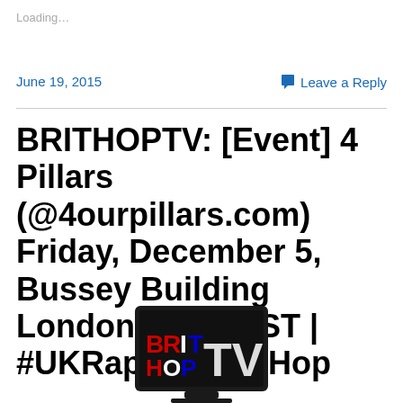Loading…
June 19, 2015
Leave a Reply
BRITHOPTV: [Event] 4 Pillars (@4ourpillars.com) Friday, December 5, Bussey Building London, SE15 4ST | #UKRap #UKHipHop
[Figure (logo): BRITHOP TV logo on a black TV screen graphic. Text shows BRIT in red/blue stacked above HOP, followed by TV in white/gray large letters.]